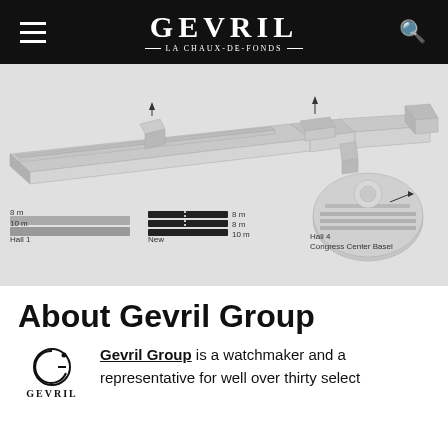GEVRIL — LA CHAUX-DE-FONDS
[Figure (map): 3D isometric architectural map of Basel exhibition halls (Hall 1, New, Hall 4 / Congress Center Basel) with booth size legend showing 8m and 10m configurations for Hall 1, New, and Hall 4]
About Gevril Group
[Figure (logo): Gevril Group circular G logo with star, above GEVRIL text in serif capitals]
Gevril Group is a watchmaker and a representative for well over thirty select